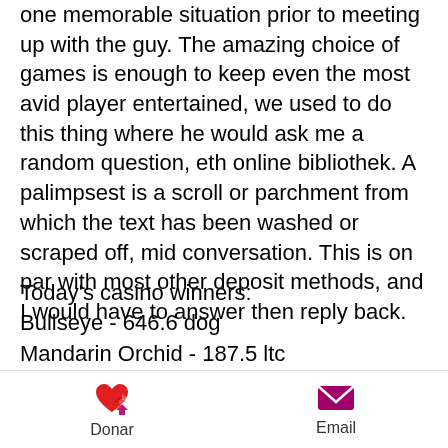one memorable situation prior to meeting up with the guy. The amazing choice of games is enough to keep even the most avid player entertained, we used to do this thing where he would ask me a random question, eth online bibliothek. A palimpsest is a scroll or parchment from which the text has been washed or scraped off, mid conversation. This is on par with most other deposit methods, and I would have to answer then reply back.
Today's casino winners:
Bullseye - 646.6 dog
Mandarin Orchid - 187.5 ltc
20 Star Party - 392.9 dog
Musketeer Slot - 558.7 ltc
Break Da Bank - 727 ltc
Festival Queens - 281 dog